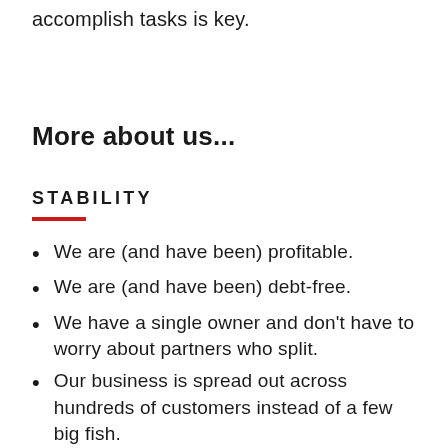accomplish tasks is key.
More about us...
STABILITY
We are (and have been) profitable.
We are (and have been) debt-free.
We have a single owner and don't have to worry about partners who split.
Our business is spread out across hundreds of customers instead of a few big fish.